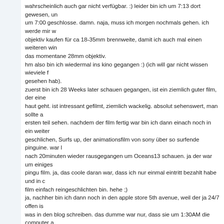wahrscheinlich auch gar nicht verfügbar. :) leider bin ich um 7:13 dort gewesen, und um 7:00 geschlosse. damn. naja, muss ich morgen nochmals gehen. ich werde mir w objektiv kaufen für ca 18-35mm brennweite, damit ich auch mal einen weiteren win das momentane 28mm objektiv.
hm also bin ich wiedermal ins kino gegangen :) (ich will gar nicht wissen wieviele f gesehen hab).
zuerst bin ich 28 Weeks later schauen gegangen, ist ein ziemlich guter film, der eine haut geht. ist intressant gefilmt, ziemlich wackelig. absolut sehenswert, man sollte a ersten teil sehen. nachdem der film fertig war bin ich dann einach noch in ein weiter geschlichen, Surfs up, der animationsfilm von sony über so surfende pinguine. war l nach 20minuten wieder rausgegangen um Oceans13 schauen. ja der war um einiges pingu film. ja, das coole daran war, dass ich nur einmal eintritt bezahlt habe und in c film einfach reingeschlichten bin. hehe ;)
ja, nachher bin ich dann noch in den apple store 5th avenue, weil der ja 24/7 offen is was in den blog schreiben. das dumme war nur, dass sie um 1:30AM die computer a deswegen der ganze text den ich am schreiben war gelöscht wurde. damn.
und vergesst das fotoarchiv nicht, hat ein paar tolle fotos drunter (und viele schlecht
Kommentare
heidi am 27.06.2007 um 15:18:
juhui wir haben einen neuen bildschirm
nach unsererem bildschirmabsturz
kann ich nun endlich wieder deine news
lesen finde es immer intressant news aus
NY grüessli heidi
joh. am 29.06.2007 um 18:39:
hhhej fab